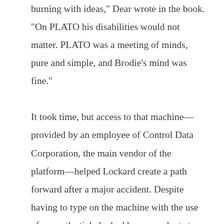burning with ideas," Dear wrote in the book. "On PLATO his disabilities would not matter. PLATO was a meeting of minds, pure and simple, and Brodie's mind was fine."

It took time, but access to that machine—provided by an employee of Control Data Corporation, the main vendor of the platform—helped Lockard create a path forward after a major accident. Despite having to type on the machine with the use of a mouth stick, he had become adept at programming for the early platform. On top of that, his stay at the hospital made him aware of something that would eventually bring him great success: mahjong solitaire, a popular game at the hospital.